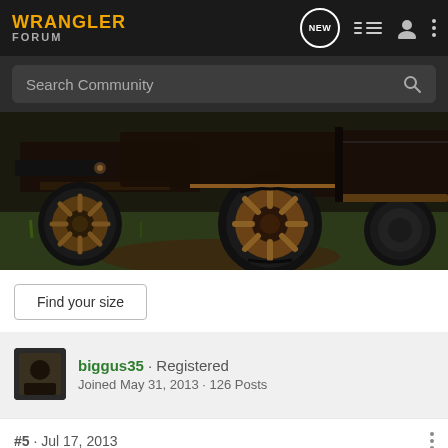WRANGLER FORUM
Search Community
[Figure (photo): Close-up photo of a lifted Jeep Wrangler with bronze/copper colored off-road wheels and large all-terrain tires, parked on grass/dirt terrain.]
Find your size
biggus35 · Registered
Joined May 31, 2013 · 126 Posts
#5 · Jul 17, 2013